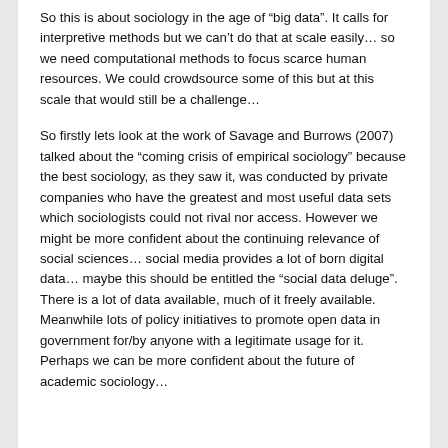So this is about sociology in the age of “big data”. It calls for interpretive methods but we can’t do that at scale easily… so we need computational methods to focus scarce human resources. We could crowdsource some of this but at this scale that would still be a challenge…
So firstly lets look at the work of Savage and Burrows (2007) talked about the “coming crisis of empirical sociology” because the best sociology, as they saw it, was conducted by private companies who have the greatest and most useful data sets which sociologists could not rival nor access. However we might be more confident about the continuing relevance of social sciences… social media provides a lot of born digital data… maybe this should be entitled the “social data deluge”. There is a lot of data available, much of it freely available. Meanwhile lots of policy initiatives to promote open data in government for/by anyone with a legitimate usage for it. Perhaps we can be more confident about the future of academic sociology…